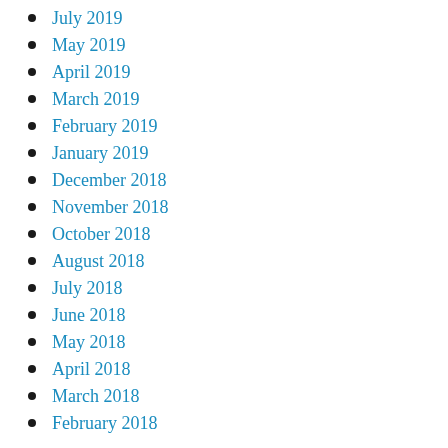July 2019
May 2019
April 2019
March 2019
February 2019
January 2019
December 2018
November 2018
October 2018
August 2018
July 2018
June 2018
May 2018
April 2018
March 2018
February 2018